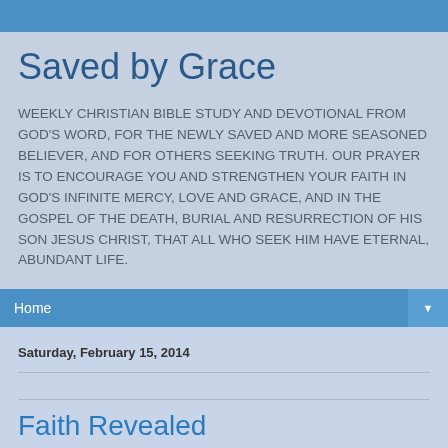Saved by Grace
WEEKLY CHRISTIAN BIBLE STUDY AND DEVOTIONAL FROM GOD'S WORD, FOR THE NEWLY SAVED AND MORE SEASONED BELIEVER, AND FOR OTHERS SEEKING TRUTH. OUR PRAYER IS TO ENCOURAGE YOU AND STRENGTHEN YOUR FAITH IN GOD'S INFINITE MERCY, LOVE AND GRACE, AND IN THE GOSPEL OF THE DEATH, BURIAL AND RESURRECTION OF HIS SON JESUS CHRIST, THAT ALL WHO SEEK HIM HAVE ETERNAL, ABUNDANT LIFE.
Home
Saturday, February 15, 2014
Faith Revealed